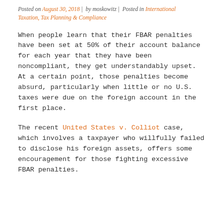Posted on August 30, 2018 | by moskowitz | Posted in International Taxation, Tax Planning & Compliance
When people learn that their FBAR penalties have been set at 50% of their account balance for each year that they have been noncompliant, they get understandably upset. At a certain point, those penalties become absurd, particularly when little or no U.S. taxes were due on the foreign account in the first place.
The recent United States v. Colliot case, which involves a taxpayer who willfully failed to disclose his foreign assets, offers some encouragement for those fighting excessive FBAR penalties.